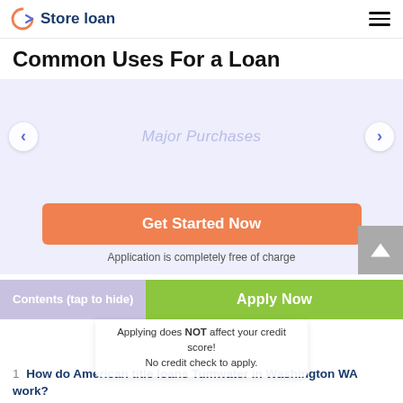Store loan
Common Uses For a Loan
[Figure (screenshot): Carousel slider with left and right arrows and 'Major Purchases' text in center, light purple/blue background]
Get Started Now
Application is completely free of charge
Contents (tap to hide)
Apply Now
Applying does NOT affect your credit score!
No credit check to apply.
1  How do American title loans Tumwater in Washington WA work?